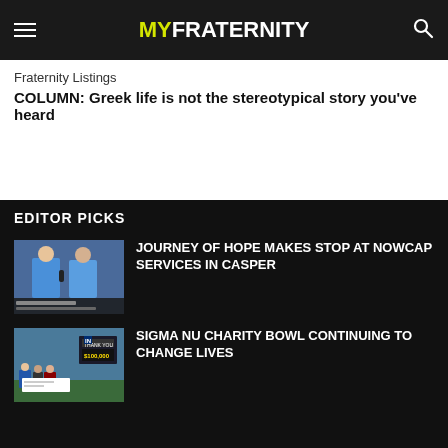MYFRATERNITY
Fraternity Listings
COLUMN: Greek life is not the stereotypical story you've heard
EDITOR PICKS
[Figure (photo): Two young men in blue shirts being interviewed, TV news chyron at bottom]
JOURNEY OF HOPE MAKES STOP AT NOWCAP SERVICES IN CASPER
[Figure (photo): Group of people on a baseball field holding a large check, scoreboard in background]
SIGMA NU CHARITY BOWL CONTINUING TO CHANGE LIVES